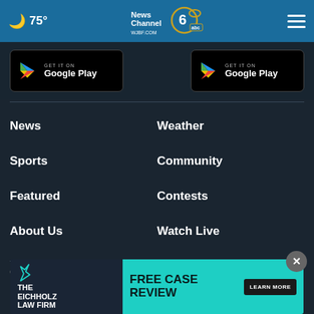75° News Channel 6 ABC WJBF.COM
[Figure (screenshot): Two Google Play store badges on dark background]
News
Weather
Sports
Community
Featured
Contests
About Us
Watch Live
Children's
[Figure (infographic): The Eichholz Law Firm advertisement banner: FREE CASE REVIEW - LEARN MORE]